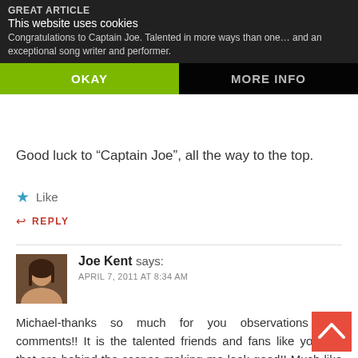GREAT ARTICLE
This website uses cookies
Congratulations to Captain Joe. Talented in more ways than one... and an exceptional song writer and performer.
OKAY
MORE INFO
Good luck to "Captain Joe", all the way to the top.
Like
REPLY
Joe Kent says:
APRIL 7, 2011 AT 8:34 AM
Michael-thanks so much for you observations and comments!! It is the talented friends and fans like yourself that are behind the scenes making me look good!! Much like my Captain's duties-a good man on the deck giving good information can make the greenest wheelman look like a seasoned pro!! On the other hand a deckhand with lesser